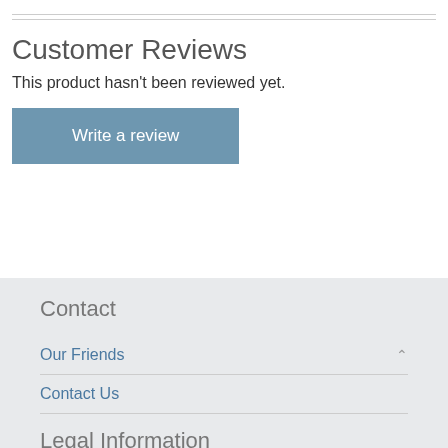Customer Reviews
This product hasn't been reviewed yet.
Write a review
Contact
Our Friends
Contact Us
Legal Information